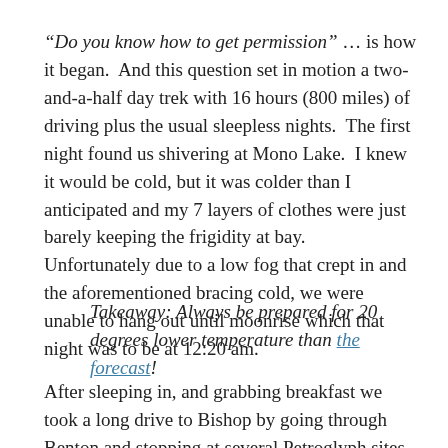“Do you know how to get permission” … is how it began.  And this question set in motion a two-and-a-half day trek with 16 hours (800 miles) of driving plus the usual sleepless nights.  The first night found us shivering at Mono Lake.  I knew it would be cold, but it was colder than I anticipated and my 7 layers of clothes were just barely keeping the frigidity at bay.  Unfortunately due to a low fog that crept in and the aforementioned bracing cold, we were unable to hang out until moonrise which that night was to be at 12:20 am.
Takeaway: Always be prepared for 20 degrees lower temperature than the forecast!
After sleeping in, and grabbing breakfast we took a long drive to Bishop by going through Benton and stopping at several Petroglyph sites.  There were some remarkable locations I’d